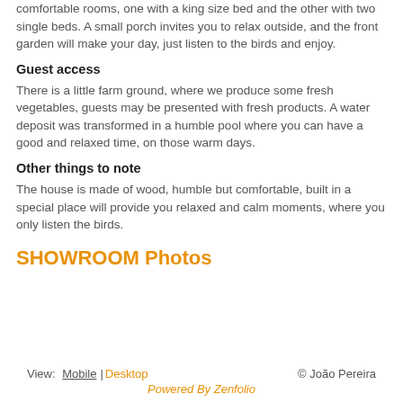comfortable rooms, one with a king size bed and the other with two single beds. A small porch invites you to relax outside, and the front garden will make your day, just listen to the birds and enjoy.
Guest access
There is a little farm ground, where we produce some fresh vegetables, guests may be presented with fresh products. A water deposit was transformed in a humble pool where you can have a good and relaxed time, on those warm days.
Other things to note
The house is made of wood, humble but comfortable, built in a special place will provide you relaxed and calm moments, where you only listen the birds.
SHOWROOM Photos
View: Mobile | Desktop © João Pereira Powered By Zenfolio